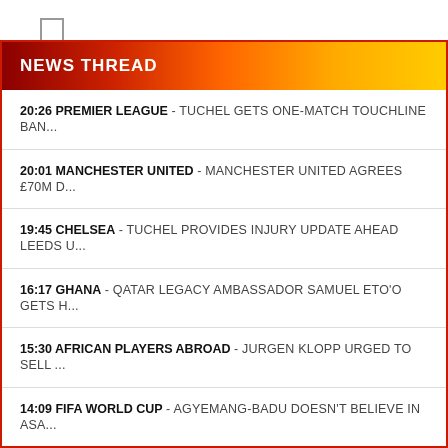Save my name, email, and website in this browser for the next time I comment.
Post Comment
NEWS THREAD
20:26 PREMIER LEAGUE - TUCHEL GETS ONE-MATCH TOUCHLINE BAN...
20:01 MANCHESTER UNITED - MANCHESTER UNITED AGREES £70M D...
19:45 CHELSEA - TUCHEL PROVIDES INJURY UPDATE AHEAD LEEDS U...
16:17 GHANA - QATAR LEGACY AMBASSADOR SAMUEL ETO'O GETS H...
15:30 AFRICAN PLAYERS ABROAD - JURGEN KLOPP URGED TO SELL ...
14:09 FIFA WORLD CUP - AGYEMANG-BADU DOESN'T BELIEVE IN ASA...